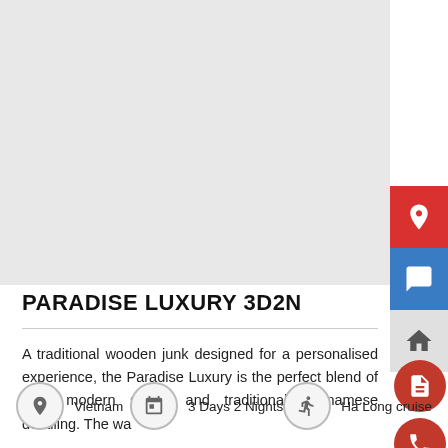[Figure (photo): Travel/cruise product hero image area (white/light gray placeholder)]
PARADISE LUXURY 3D2N
A traditional wooden junk designed for a personalised experience, the Paradise Luxury is the perfect blend of chic, modern styling and traditional Vietnamese detailing. The wa
Vietnam
3 Days 2 Nights
Ha Long cruise